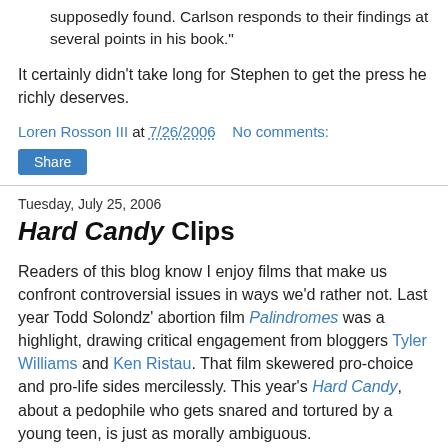supposedly found. Carlson responds to their findings at several points in his book."
It certainly didn't take long for Stephen to get the press he richly deserves.
Loren Rosson III at 7/26/2006   No comments:
Share
Tuesday, July 25, 2006
Hard Candy Clips
Readers of this blog know I enjoy films that make us confront controversial issues in ways we'd rather not. Last year Todd Solondz' abortion film Palindromes was a highlight, drawing critical engagement from bloggers Tyler Williams and Ken Ristau. That film skewered pro-choice and pro-life sides mercilessly. This year's Hard Candy, about a pedophile who gets snared and tortured by a young teen, is just as morally ambiguous.